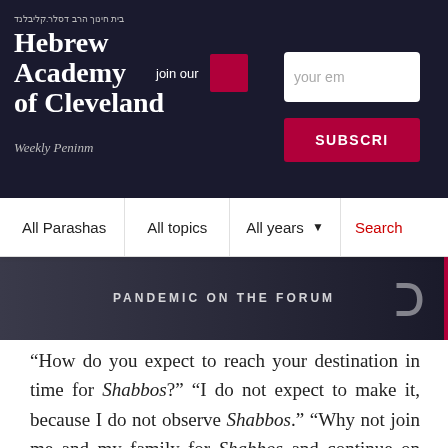Hebrew Academy of Cleveland — Weekly Peninm — Join our newsletter
[Figure (screenshot): Website header of Hebrew Academy of Cleveland with logo, Hebrew text 'beit chinooch harav dasler-kleiblemd', email subscription input, and Subscribe button]
[Figure (screenshot): Navigation bar with All Parashas, All topics, All years dropdown, and Search field]
[Figure (photo): Dark image strip showing publication cover or banner with Hebrew letter overlay on right]
“How do you expect to reach your destination in time for Shabbos?” “I do not expect to make it, because I do not observe Shabbos.” “Why not join me and my family for Shabbos and continue on home after Shabbos?” “My family is expecting me for the weekend,” Gabi replied. “This is what a telephone is for,” R’ Moshe said. “Why not call them and say that you are late and have decided to